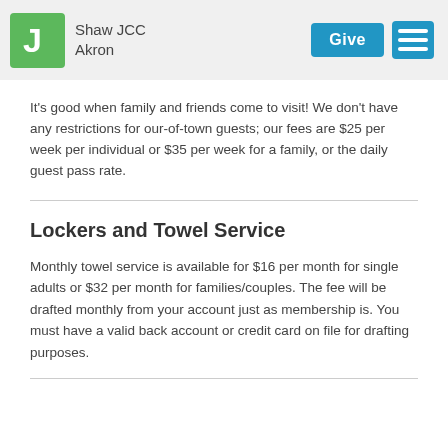Shaw JCC Akron
It's good when family and friends come to visit! We don't have any restrictions for our-of-town guests; our fees are $25 per week per individual or $35 per week for a family, or the daily guest pass rate.
Lockers and Towel Service
Monthly towel service is available for $16 per month for single adults or $32 per month for families/couples. The fee will be drafted monthly from your account just as membership is. You must have a valid back account or credit card on file for drafting purposes.